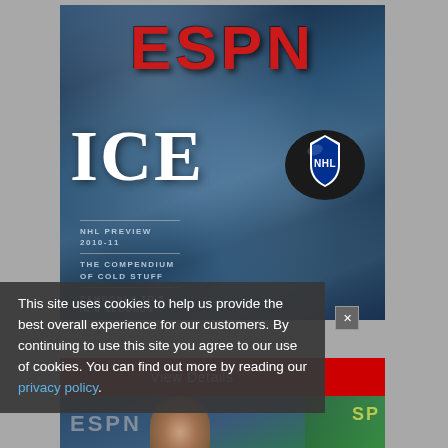[Figure (photo): ESPN ICE magazine cover featuring NHL hockey puck embedded in ice, with ESPN logo at top in red, large 'ICE' text in white, and subtext including 'NHL PREVIEW 2010-11', 'THE COMPENDIUM OF COLD STUFF', 'ZAMBONI 0 TO 5 IN 6 SECONDS']
October 4, 201
This site uses cookies to help us provide the best overall experience for our customers. By continuing to use this site you agree to our use of cookies. You can find out more by reading our privacy policy.
View Details
[Figure (photo): Partial view of another ESPN magazine cover showing a person's face (partially visible) with ESPN logo text in background]